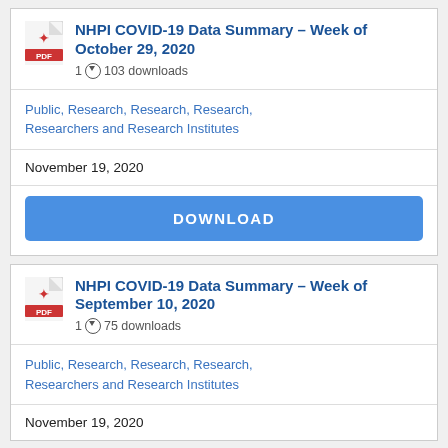NHPI COVID-19 Data Summary – Week of October 29, 2020
1 ⬇ 103 downloads
Public, Research, Research, Research, Researchers and Research Institutes
November 19, 2020
DOWNLOAD
NHPI COVID-19 Data Summary – Week of September 10, 2020
1 ⬇ 75 downloads
Public, Research, Research, Research, Researchers and Research Institutes
November 19, 2020